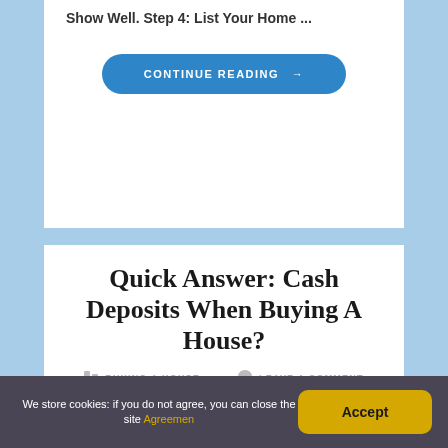Show Well. Step 4: List Your Home ...
CONTINUE READING →
Quick Answer: Cash Deposits When Buying A House?
BUYING A HOUSE   LEAVE A COMMENT
You can get cash from anywhere and deposit it into your account. But, when purchasing a home, you will have to prove that you received the cash through legal sources. In
We store cookies: if you do not agree, you can close the site Agreemen
Accept